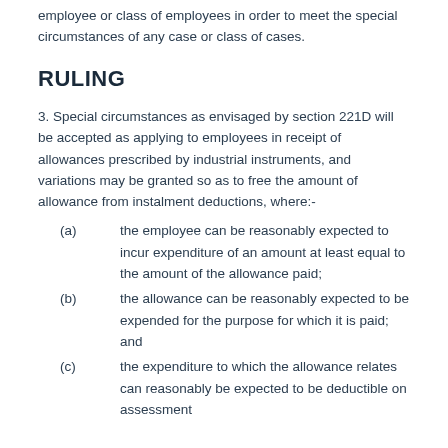employee or class of employees in order to meet the special circumstances of any case or class of cases.
RULING
3. Special circumstances as envisaged by section 221D will be accepted as applying to employees in receipt of allowances prescribed by industrial instruments, and variations may be granted so as to free the amount of allowance from instalment deductions, where:-
(a) the employee can be reasonably expected to incur expenditure of an amount at least equal to the amount of the allowance paid;
(b) the allowance can be reasonably expected to be expended for the purpose for which it is paid; and
(c) the expenditure to which the allowance relates can reasonably be expected to be deductible on assessment